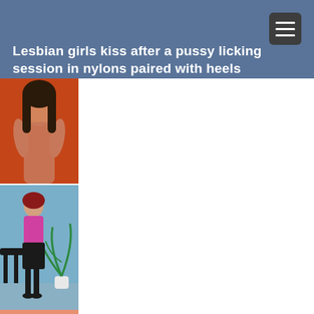Lesbian girls kiss after a pussy licking session in nylons paired with heels
[Figure (photo): Thumbnail image 1: woman with dark hair against orange background]
[Figure (photo): Thumbnail image 2: woman in pink blouse and black skirt with plant and office chair against blue background]
[Figure (photo): Thumbnail image 3: blonde woman against pink/salmon background]